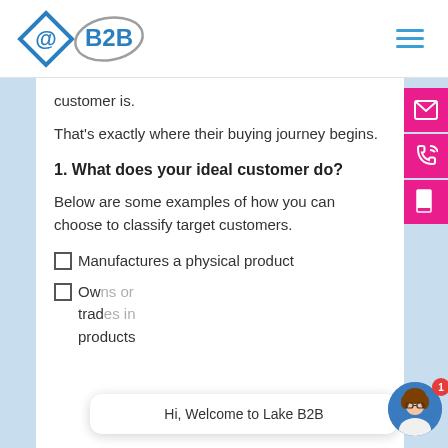@B2B
customer is.
That's exactly where their buying journey begins.
1. What does your ideal customer do?
Below are some examples of how you can choose to classify target customers.
Manufactures a physical product
Owns or tra... trade... products
Hi, Welcome to Lake B2B